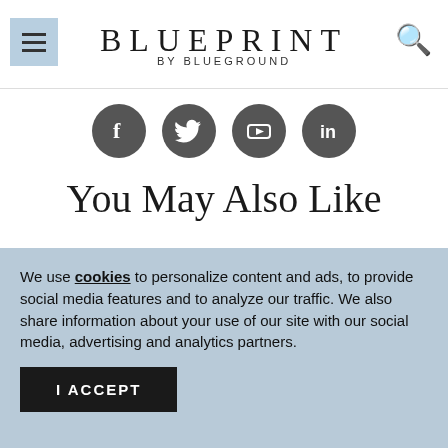BLUEPRINT BY BLUEGROUND
[Figure (illustration): Four social media icons (Facebook, Twitter, YouTube, LinkedIn) as dark grey circles]
You May Also Like
We use cookies to personalize content and ads, to provide social media features and to analyze our traffic. We also share information about your use of our site with our social media, advertising and analytics partners.
I ACCEPT